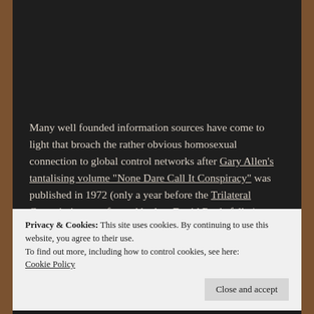Many well founded information sources have come to light that broach the rather obvious homosexual connection to global control networks after Gary Allen's tantalising volume "None Dare Call It Conspiracy" was published in 1972 (only a year before the Trilateral Commission was formed by late David Rockefeller). Those behind the eugenics movement aiming to radically reduce global
Privacy & Cookies: This site uses cookies. By continuing to use this website, you agree to their use.
To find out more, including how to control cookies, see here: Cookie Policy